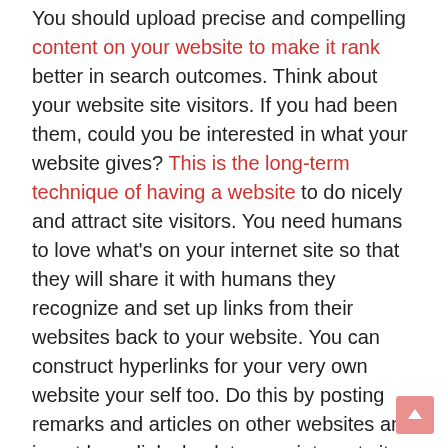You should upload precise and compelling content on your website to make it rank better in search outcomes. Think about your website site visitors. If you had been them, could you be interested in what your website gives? This is the long-term technique of having a website to do nicely and attract site visitors. You need humans to love what's on your internet site so that they will share it with humans they recognize and set up links from their websites back to your website. You can construct hyperlinks for your very own website your self too. Do this by posting remarks and articles on other websites and insert hyperlinks back to your internet site. These matters are the building blocks of creating a successful website to deliver site visitors, leads, and customers.